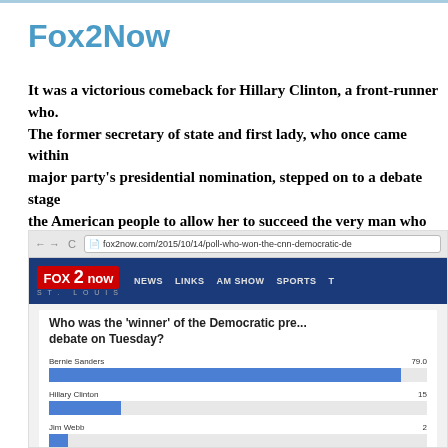Fox2Now
It was a victorious comeback for Hillary Clinton, a front-runner who. The former secretary of state and first lady, who once came within major party's presidential nomination, stepped on to a debate stage the American people to allow her to succeed the very man who had c
[Figure (screenshot): Screenshot of Fox2Now website showing a poll: 'Who was the winner of the Democratic presidential debate on Tuesday?' with bar chart results. Bernie Sanders 79%, Hillary Clinton ~15%, Jim Webb ~2%, Martin O'Malley ~2%]